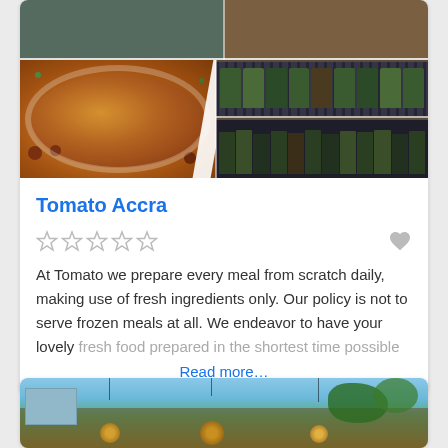[Figure (photo): Restaurant photo collage: top-left green/teal interior, top-right dark wood dining room, bottom-left pasta with meatballs and tomato sauce, bottom-right wine/bottle shelves]
Tomato Accra
At Tomato we prepare every meal from scratch daily, making use of fresh ingredients only. Our policy is not to serve frozen meals at all. We endeavor to have your lovely fresh food prepared in the shortest time possible
Read more…
[Figure (photo): Outdoor restaurant seating area with hanging pendant lights and bamboo/wood structures under trees]